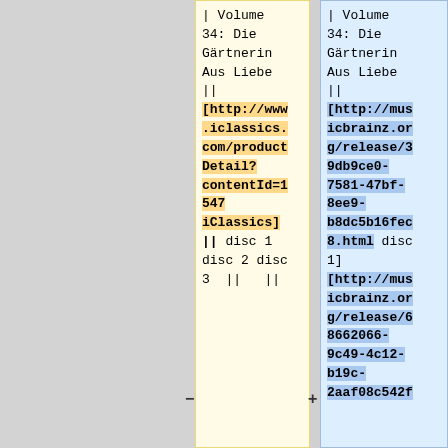| Volume 34: Die Gärtnerin Aus Liebe || [http://www.iclassics.com/productDetail?contentId=1547 iClassics] || disc 1 disc 2 disc 3 || ||
| Volume 34: Die Gärtnerin Aus Liebe || [http://musicbrainz.org/release/39db9ce0-7581-47bf-8ee9-b8dc5b16fec8.html disc 1] [http://musicbrainz.org/release/68662066-9c49-4c12-b19c-2aaf08c542f